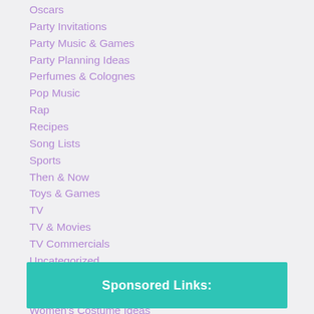Oscars
Party Invitations
Party Music & Games
Party Planning Ideas
Perfumes & Colognes
Pop Music
Rap
Recipes
Song Lists
Sports
Then & Now
Toys & Games
TV
TV & Movies
TV Commercials
Uncategorized
What Made the 80s Awesome
When I Was a Kid
Women's Costume Ideas
Women's Fashion
Sponsored Links: